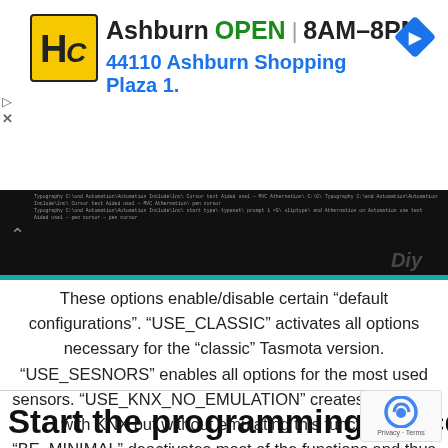[Figure (other): Hardware store ad banner showing HC logo, Ashburn location, OPEN 8AM-8PM hours, address 44110 Ashburn Shopping Plaza 1., navigation arrow icon, and side controls]
[Figure (screenshot): Terminal/code screenshot showing dark background with text lines and Diy watermark]
These options enable/disable certain “default configurations”. “USE_CLASSIC” activates all options necessary for the “classic” Tasmota version. “USE_SESNORS” enables all options for the most used sensors. “USE_KNX_NO_EMULATION” creates a version with KNX but without emulating this function. “BE_MINIMAL” deactivates most of the functions and thus creates a very compact firmware image, which is perfectly suited to be installed via OTA on an ESP8266.
Start the programming process